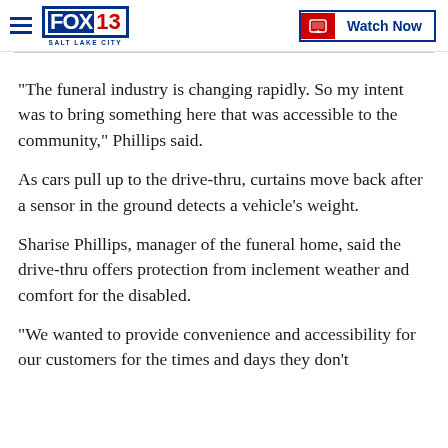FOX 13 SALT LAKE CITY — Watch Now
“The funeral industry is changing rapidly. So my intent was to bring something here that was accessible to the community,” Phillips said.
As cars pull up to the drive-thru, curtains move back after a sensor in the ground detects a vehicle’s weight.
Sharise Phillips, manager of the funeral home, said the drive-thru offers protection from inclement weather and comfort for the disabled.
“We wanted to provide convenience and accessibility for our customers for the times and days they don’t